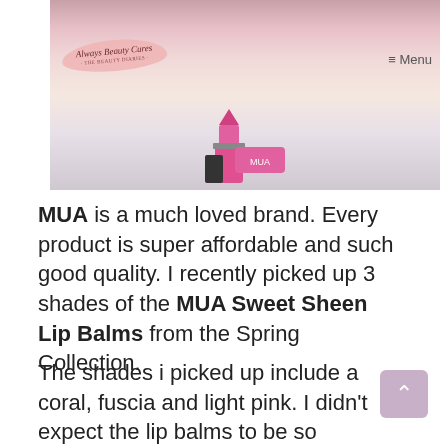[Figure (photo): Photo of MUA Sweet Sheen Lip Balm product in pink, placed on a light surface, with colour swatches on skin visible in background. A beauty blog logo 'Always Beauty Cures' overlaid top-left, and 'Menu' text top-right.]
MUA is a much loved brand. Every product is super affordable and such good quality. I recently picked up 3 shades of the MUA Sweet Sheen Lip Balms from the Spring Collection.
The shades i picked up include a coral, fuscia and light pink. I didn't expect the lip balms to be so pigmented! Usually balms have hardly any colour but these are amazing. The coral shade is Coral which as you can tell is a gorgeous coral shade with incredible pigment. The second shade is deep pink...